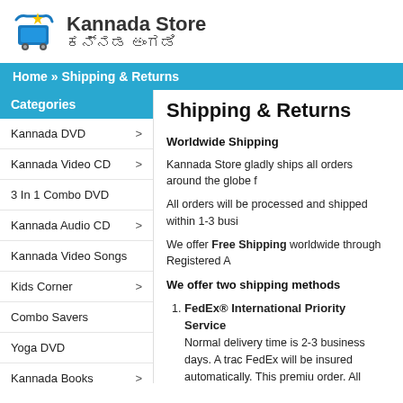[Figure (logo): Kannada Store logo with shopping cart icon and Kannada script text]
Home » Shipping & Returns
Categories
Kannada DVD >
Kannada Video CD >
3 In 1 Combo DVD
Kannada Audio CD >
Kannada Video Songs
Kids Corner >
Combo Savers
Yoga DVD
Kannada Books >
Telugu DVD
Shipping & Returns
Worldwide Shipping
Kannada Store gladly ships all orders around the globe f
All orders will be processed and shipped within 1-3 busi
We offer Free Shipping worldwide through Registered A
We offer two shipping methods
FedEx® International Priority Service - Normal delivery time is 2-3 business days. A trac FedEx will be insured automatically. This premiu order. All FedEx packages require a signature up
Registered Air Mail by India Post - Normal delivery time is 8-21 business days. We v